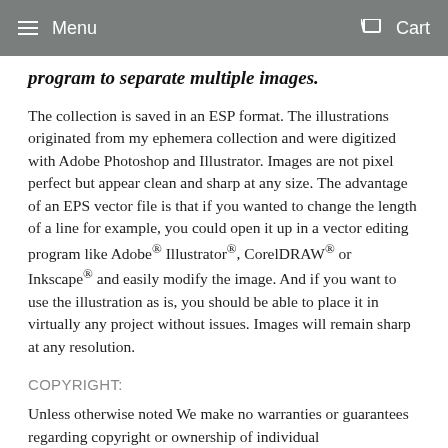Menu   Cart
program to separate multiple images.
The collection is saved in an ESP format. The illustrations originated from my ephemera collection and were digitized with Adobe Photoshop and Illustrator. Images are not pixel perfect but appear clean and sharp at any size. The advantage of an EPS vector file is that if you wanted to change the length of a line for example, you could open it up in a vector editing program like Adobe® Illustrator®, CorelDRAW® or Inkscape® and easily modify the image. And if you want to use the illustration as is, you should be able to place it in virtually any project without issues. Images will remain sharp at any resolution.
COPYRIGHT:
Unless otherwise noted We make no warranties or guarantees regarding copyright or ownership of individual